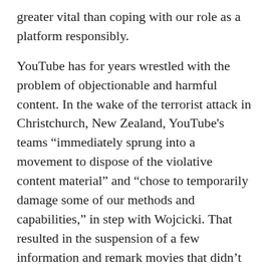greater vital than coping with our role as a platform responsibly.
YouTube has for years wrestled with the problem of objectionable and harmful content. In the wake of the terrorist attack in Christchurch, New Zealand, YouTube's teams “immediately sprung into a movement to dispose of the violative content material” and “chose to temporarily damage some of our methods and capabilities,” in step with Wojcicki. That resulted in the suspension of a few information and remark movies that didn’t definitely violate YouTube’s community tips, but “given the stakes, it changed into any other change-off that we felt became essential,” she wrote.
According to a report remaining month with the aid of Bloomberg News, Wojcicki and different YouTube